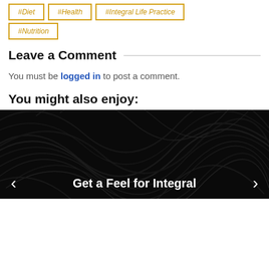#Diet
#Health
#Integral Life Practice
#Nutrition
Leave a Comment
You must be logged in to post a comment.
You might also enjoy:
[Figure (illustration): Dark swirling abstract background with a navigation carousel showing 'Get a Feel for Integral' text and left/right arrows.]